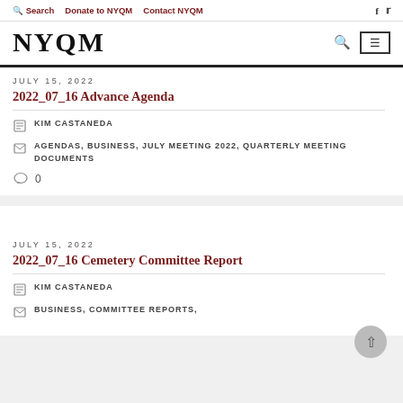Search   Donate to NYQM   Contact NYQM
NYQM
JULY 15, 2022
2022_07_16 Advance Agenda
KIM CASTANEDA
AGENDAS, BUSINESS, JULY MEETING 2022, QUARTERLY MEETING DOCUMENTS
0
JULY 15, 2022
2022_07_16 Cemetery Committee Report
KIM CASTANEDA
BUSINESS, COMMITTEE REPORTS,